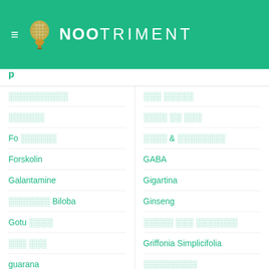NOOTRIMENT
░░░░░░░░░░
░░░░░░
Fo ░░░░░░
Forskolin
Galantamine
░░░░░░░ Biloba
Gotu ░░░░
░░░ ░░░
guarana
░░░░ ░░░░
Hordenine
░░░ ░░░░░
░░░░ ░░ ░░░
░░░░ & ░░░░░░░░
GABA
Gigartina
Ginseng
░░░░░ ░░░ ░░░░░░░
Griffonia Simplicifolia
░░░░░░░░░
░░░░░░░░░░
░░░░ ░░ ░░░ ░░░ ░░░░ Weed